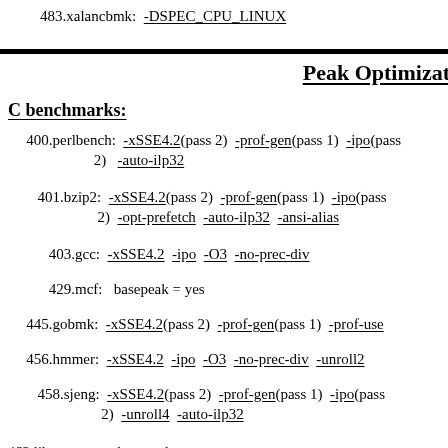483.xalancbmk: -DSPEC_CPU_LINUX
Peak Optimizat
C benchmarks:
400.perlbench: -xSSE4.2(pass 2) -prof-gen(pass 1) -ipo(pass 2) -auto-ilp32
401.bzip2: -xSSE4.2(pass 2) -prof-gen(pass 1) -ipo(pass 2) -opt-prefetch -auto-ilp32 -ansi-alias
403.gcc: -xSSE4.2 -ipo -O3 -no-prec-div
429.mcf: basepeak = yes
445.gobmk: -xSSE4.2(pass 2) -prof-gen(pass 1) -prof-use
456.hmmer: -xSSE4.2 -ipo -O3 -no-prec-div -unroll2
458.sjeng: -xSSE4.2(pass 2) -prof-gen(pass 1) -ipo(pass 2) -unroll4 -auto-ilp32
462.libquantum: basepeak = yes